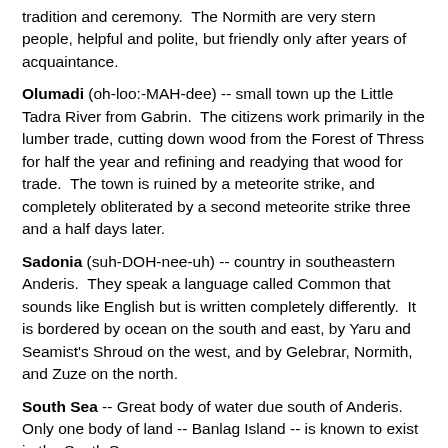tradition and ceremony.  The Normith are very stern people, helpful and polite, but friendly only after years of acquaintance.
Olumadi (oh-loo:-MAH-dee) -- small town up the Little Tadra River from Gabrin.  The citizens work primarily in the lumber trade, cutting down wood from the Forest of Thress for half the year and refining and readying that wood for trade.  The town is ruined by a meteorite strike, and completely obliterated by a second meteorite strike three and a half days later.
Sadonia (suh-DOH-nee-uh) -- country in southeastern Anderis.  They speak a language called Common that sounds like English but is written completely differently.  It is bordered by ocean on the south and east, by Yaru and Seamist's Shroud on the west, and by Gelebrar, Normith, and Zuze on the north.
South Sea -- Great body of water due south of Anderis.  Only one body of land -- Banlag Island -- is known to exist in the South Sea.
Storn -- can refer to the farthest north country in Anderis or to that country's people.  Little is known about the Storn except that they